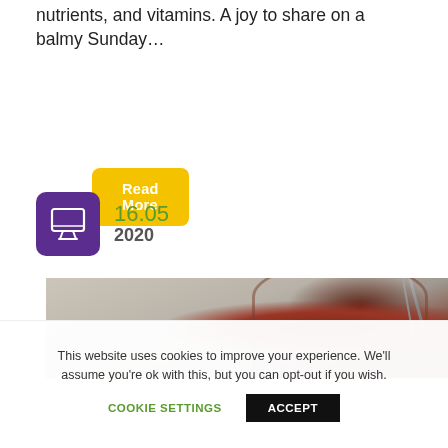nutrients, and vitamins. A joy to share on a balmy Sunday…
Read More
16.05
2020
[Figure (photo): A glass jar of red jam/preserve with a spoon, on a granite countertop]
This website uses cookies to improve your experience. We'll assume you're ok with this, but you can opt-out if you wish.
COOKIE SETTINGS
ACCEPT